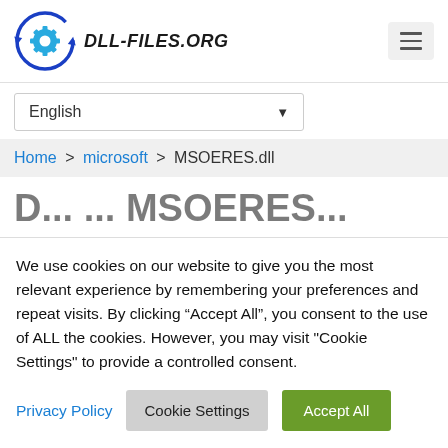[Figure (logo): DLL-FILES.ORG logo with gear/refresh icon in blue and a circular arrow]
English
Home > microsoft > MSOERES.dll
D... ... MSO ERE S ...
We use cookies on our website to give you the most relevant experience by remembering your preferences and repeat visits. By clicking “Accept All”, you consent to the use of ALL the cookies. However, you may visit "Cookie Settings" to provide a controlled consent.
Privacy Policy Cookie Settings Accept All